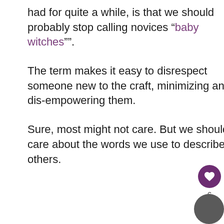had for quite a while, is that we should probably stop calling novices “baby witches””.
The term makes it easy to disrespect someone new to the craft, minimizing and dis-empowering them.
Sure, most might not care. But we should care about the words we use to describe others.
[Figure (other): Heart/like button (purple circle with white heart icon) with count 6 below, and a share button (light circle with share icon) below that]
[Figure (photo): Partial circular avatar photo in bottom right corner]